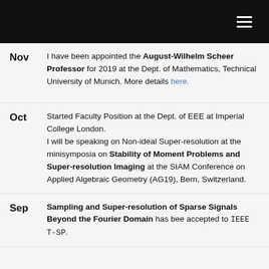☰ (navigation menu icon)
Nov — I have been appointed the August-Wilhelm Scheer Professor for 2019 at the Dept. of Mathematics, Technical University of Munich. More details here.
Oct — Started Faculty Position at the Dept. of EEE at Imperial College London. I will be speaking on Non-ideal Super-resolution at the minisymposia on Stability of Moment Problems and Super-resolution Imaging at the SIAM Conference on Applied Algebraic Geometry (AG19), Bern, Switzerland.
Sep — Sampling and Super-resolution of Sparse Signals Beyond the Fourier Domain has bee accepted to IEEE T-SP.